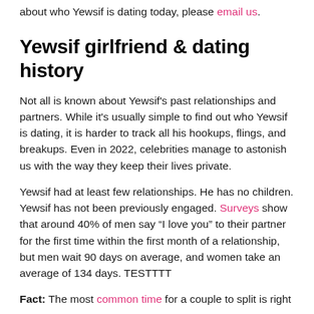about who Yewsif is dating today, please email us.
Yewsif girlfriend & dating history
Not all is known about Yewsif's past relationships and partners. While it's usually simple to find out who Yewsif is dating, it is harder to track all his hookups, flings, and breakups. Even in 2022, celebrities manage to astonish us with the way they keep their lives private.
Yewsif had at least few relationships. He has no children. Yewsif has not been previously engaged. Surveys show that around 40% of men say “I love you” to their partner for the first time within the first month of a relationship, but men wait 90 days on average, and women take an average of 134 days. TESTTTT
Fact: The most common time for a couple to split is right